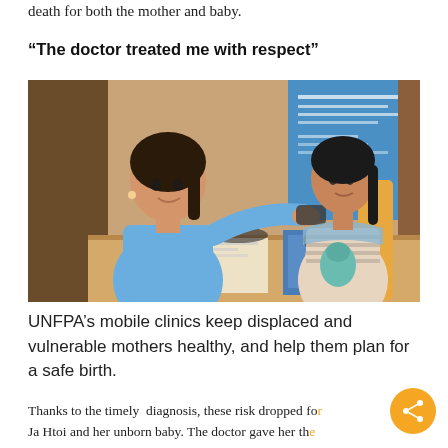death for both the mother and baby.
“The doctor treated me with respect”
[Figure (photo): A healthcare worker in a blue shirt checks the blood pressure of a young woman holding a baby doll, seated at a desk with medical books and papers. A blue UNFPA banner is visible in the background.]
UNFPA’s mobile clinics keep displaced and vulnerable mothers healthy, and help them plan for a safe birth.
Thanks to the timely diagnosis, these risk dropped for Ja Htoi and her unborn baby. The doctor gave her the drugs she needed and explained to her the importance